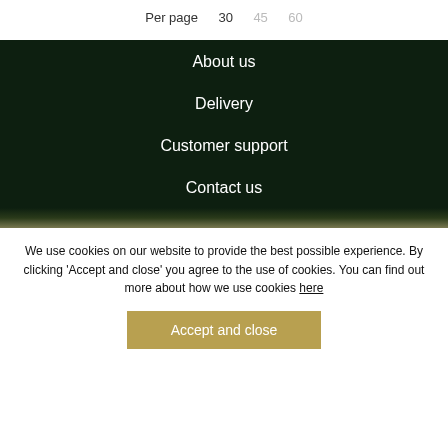Per page  30  45  60
About us
Delivery
Customer support
Contact us
We use cookies on our website to provide the best possible experience. By clicking ‘Accept and close’ you agree to the use of cookies. You can find out more about how we use cookies here
Accept and close